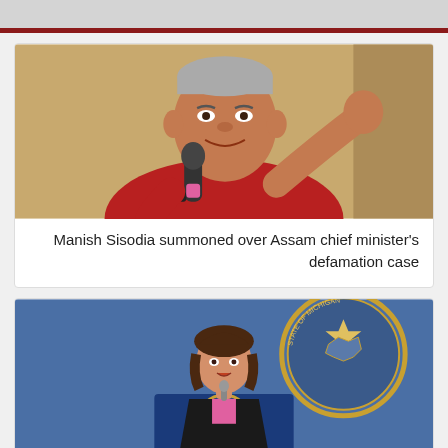[Figure (photo): Man in red shirt holding a microphone and gesturing with his right hand, speaking at an event with a yellow/beige background]
Manish Sisodia summoned over Assam chief minister’s defamation case
[Figure (photo): Woman speaking at a podium with State of Michigan seal, in front of a blue background with a large official state seal]